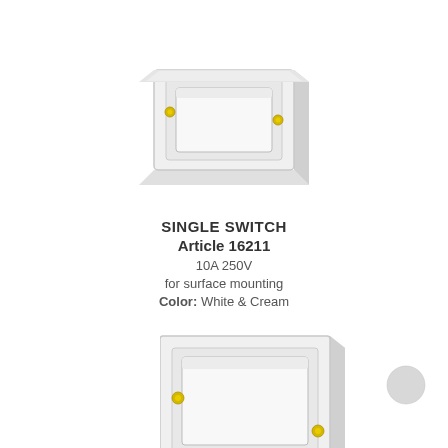[Figure (photo): Top-down angled view of a white single wall switch in a square surface-mount box with two gold mounting screws]
SINGLE SWITCH
Article 16211
10A 250V
for surface mounting
Color: White & Cream
[Figure (photo): Partial side/front view of the same white single wall switch, cropped at bottom of page]
[Figure (illustration): Small circular grey color swatch]